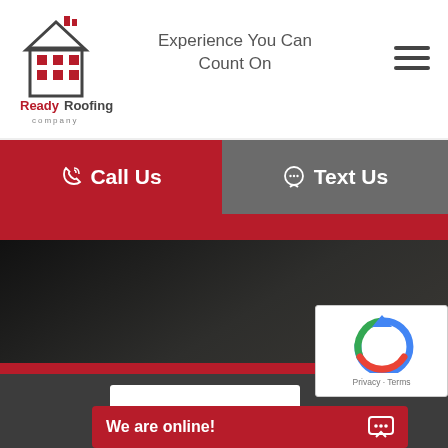[Figure (logo): Ready Roofing Company logo - red and dark grey house/building icon with grid windows, text 'Ready Roofing' in red bold and 'company' in smaller grey text below]
Experience You Can Count On
[Figure (other): Hamburger menu icon - three horizontal lines]
Call Us
Text Us
[Figure (photo): Dark background with diagonal shadow/light on roofing surface]
[Figure (other): reCAPTCHA widget with Google reCAPTCHA logo and Privacy - Terms links]
We are online!